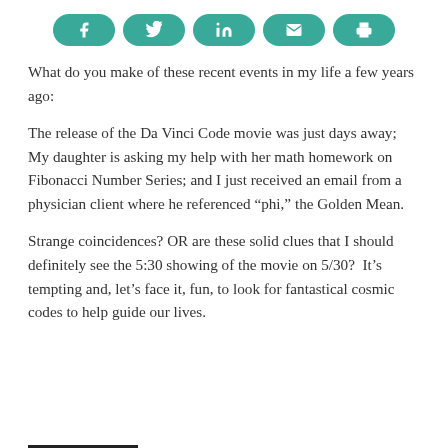[Figure (other): Social share buttons bar with icons for Facebook, Twitter, LinkedIn, Email, and Print on teal rounded pill-shaped buttons]
What do you make of these recent events in my life a few years ago:
The release of the Da Vinci Code movie was just days away; My daughter is asking my help with her math homework on Fibonacci Number Series; and I just received an email from a physician client where he referenced “phi,” the Golden Mean.
Strange coincidences? OR are these solid clues that I should definitely see the 5:30 showing of the movie on 5/30?  It’s tempting and, let’s face it, fun, to look for fantastical cosmic codes to help guide our lives.